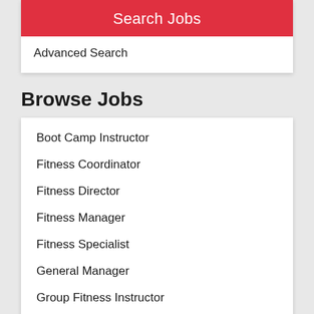Search Jobs
Advanced Search
Browse Jobs
Boot Camp Instructor
Fitness Coordinator
Fitness Director
Fitness Manager
Fitness Specialist
General Manager
Group Fitness Instructor
Head Coach
Health Coach